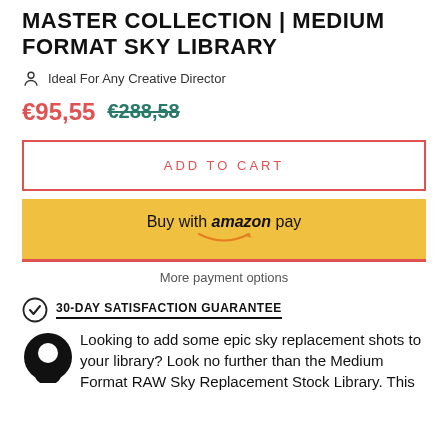MASTER COLLECTION | MEDIUM FORMAT SKY LIBRARY
Ideal For Any Creative Director
€95,55  €288,58
ADD TO CART
Buy with amazon pay
More payment options
30-DAY SATISFACTION GUARANTEE
Looking to add some epic sky replacement shots to your library? Look no further than the Medium Format RAW Sky Replacement Stock Library. This